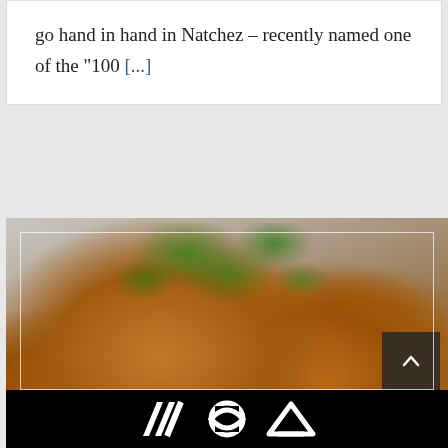go hand in hand in Natchez – recently named one of the "100 [...]
[Figure (photo): Close-up food photo of roasted quail or poultry with chickpeas, served with a curry or peanut sauce, garnished with fresh cilantro/coriander leaves. A dark scroll-up button with a caret (^) icon is visible in the lower right. At the bottom, a black logo bar shows three stylized white icons/logos.]